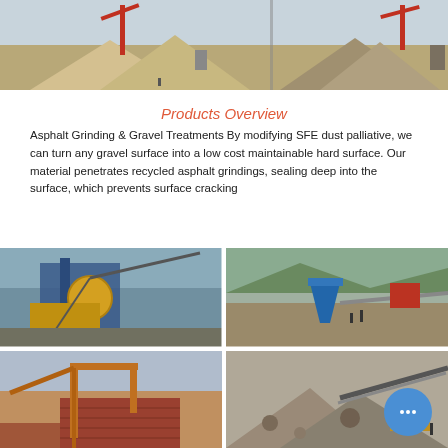[Figure (photo): Industrial gravel/sand processing site with large material piles and red crane structures]
Products Overview
Asphalt Grinding & Gravel Treatments By modifying SFE dust palliative, we can turn any gravel surface into a low cost maintainable hard surface. Our material penetrates recycled asphalt grindings, sealing deep into the surface, which prevents surface cracking
[Figure (photo): Four-panel collage of industrial quarry/crushing equipment and machinery sites]